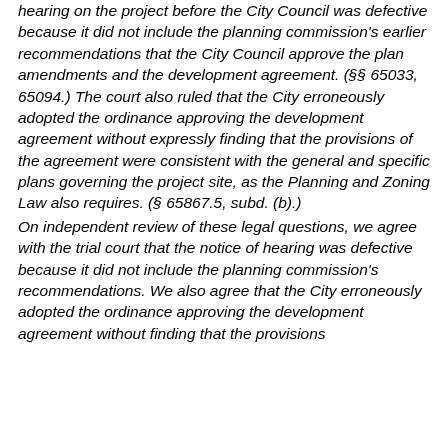hearing on the project before the City Council was defective because it did not include the planning commission's earlier recommendations that the City Council approve the plan amendments and the development agreement. (§§ 65033, 65094.) The court also ruled that the City erroneously adopted the ordinance approving the development agreement without expressly finding that the provisions of the agreement were consistent with the general and specific plans governing the project site, as the Planning and Zoning Law also requires. (§ 65867.5, subd. (b).) On independent review of these legal questions, we agree with the trial court that the notice of hearing was defective because it did not include the planning commission's recommendations. We also agree that the City erroneously adopted the ordinance approving the development agreement without finding that the provisions